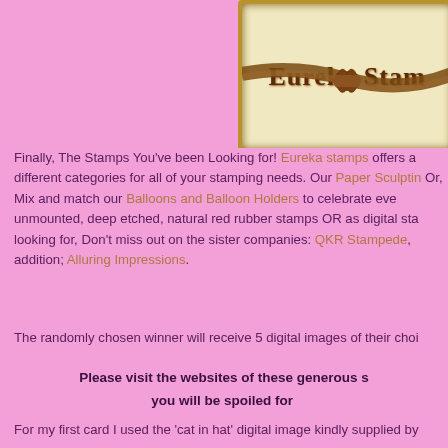[Figure (logo): Eureka Stamps logo in a gold ornate frame with a brown ribbon/bow across it, on pink background]
Finally, The Stamps You've been Looking for! Eureka stamps offers a different categories for all of your stamping needs. Our Paper Sculptin Or, Mix and match our Balloons and Balloon Holders to celebrate eve unmounted, deep etched, natural red rubber stamps OR as digital sta looking for, Don't miss out on the sister companies: QKR Stampede, addition; Alluring Impressions.
The randomly chosen winner will receive 5 digital images of their choi
Please visit the websites of these generous s you will be spoiled for
For my first card I used the 'cat in hat' digital image kindly supplied by